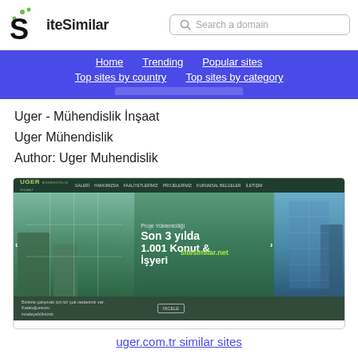[Figure (logo): SiteSimilar logo with stylized S and green dots, plus search bar]
Home  Trending  Popular sites  Top sites by country  Top sites by category
Uger - Mühendislik İnşaat
Uger Mühendislik
Author: Uger Muhendislik
[Figure (screenshot): Screenshot of uger.com.tr website showing construction company page with building images, Turkish text 'Proje Yükleniciliği Son 3 yılda 1.001 Konut & İşyeri' and sitesimilar.net watermark]
uger.com.tr similar sites